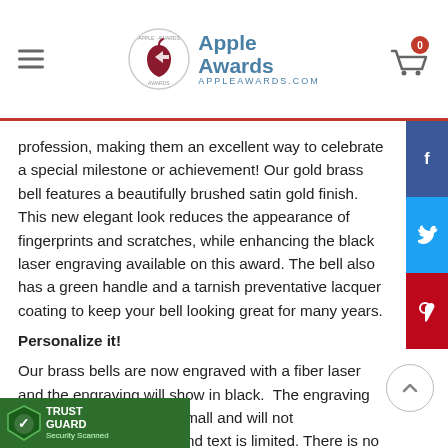Apple Awards — APPLEAWARDS.COM
profession, making them an excellent way to celebrate a special milestone or achievement! Our gold brass bell features a beautifully brushed satin gold finish. This new elegant look reduces the appearance of fingerprints and scratches, while enhancing the black laser engraving available on this award. The bell also has a green handle and a tarnish preventative lacquer coating to keep your bell looking great for many years.
Personalize it!
Our brass bells are now engraved with a fiber laser and the engraving will show in black. The engraving area on this bell is very small and will not accommodate all logos and text is limited. There is no setup charge for custom text. A one-time set up charge of $15.00 will be added for logos not already. Click here for directions on sending logo artwork. If you if your content and additional
[Figure (logo): Apple Awards logo with apple icon and text APPLEAWARDS.COM]
[Figure (infographic): TrustGuard Security Scanned badge in green]
[Figure (infographic): Social sharing sidebar with Facebook, Twitter, Pinterest buttons]